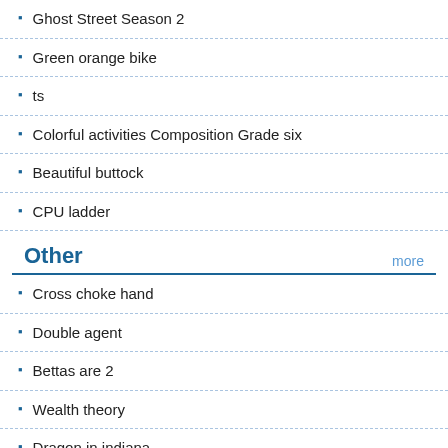Ghost Street Season 2
Green orange bike
ts
Colorful activities Composition Grade six
Beautiful buttock
CPU ladder
Other
Cross choke hand
Double agent
Bettas are 2
Wealth theory
Dragon in indiana